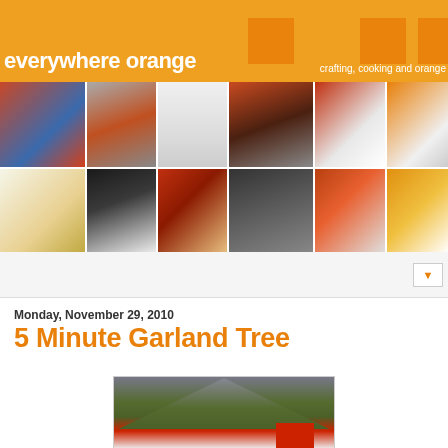everywhere orange — crafting, cooking and orange
[Figure (photo): Blog header image grid showing food, crafts, and orange-themed items]
everywhere orange
crafting, cooking and orange
Monday, November 29, 2010
5 Minute Garland Tree
[Figure (photo): Photo of a small garland tree with a red base/box]